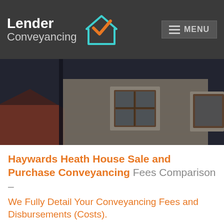[Figure (logo): Lender Conveyancing logo with house icon featuring orange checkmark and teal outline, white text on dark grey background, with MENU button top right]
[Figure (photo): Hero photo of a brick house exterior with wooden window frames, dark overlay, showing rooftops and facade]
Haywards Heath House Sale and Purchase Conveyancing Fees Comparison – We Fully Detail Your Conveyancing Fees and Disbursements (Costs).